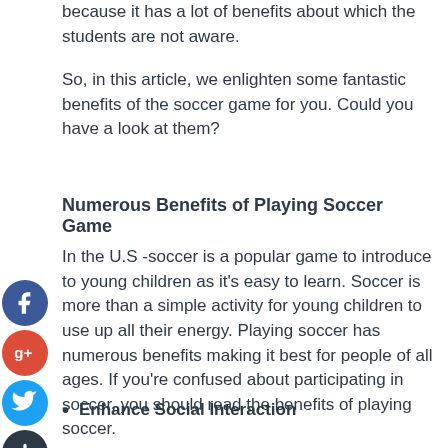because it has a lot of benefits about which the students are not aware.
So, in this article, we enlighten some fantastic benefits of the soccer game for you. Could you have a look at them?
Numerous Benefits of Playing Soccer Game
In the U.S -soccer is a popular game to introduce to young children as it's easy to learn. Soccer is more than a simple activity for young children to use up all their energy. Playing soccer has numerous benefits making it best for people of all ages. If you're confused about participating in soccer, you should read the benefits of playing soccer.
Enhance Social Interaction